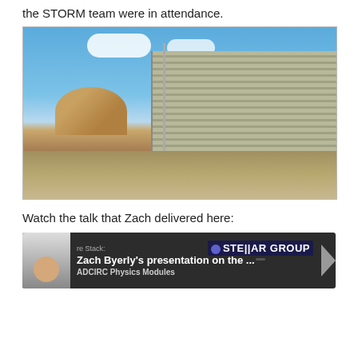the STORM team were in attendance.
[Figure (photo): Exterior photo of a government or science building with a ribbed facade, a dome visible on the left, flagpoles with flags, and a paved walkway under a blue sky with clouds.]
Watch the talk that Zach delivered here:
[Figure (screenshot): Video thumbnail showing a man in a suit, channel name 're Stack:', video title 'Zach Byerly's presentation on the ...' with subtitle 'ADCIRC Physics Modules', and STELLAR GROUP logo in upper right.]